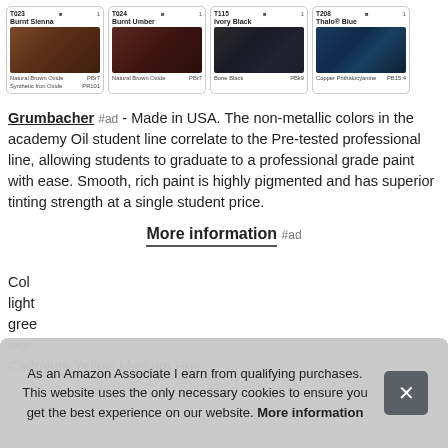[Figure (other): Four paint color cards showing: T023 Burnt Sienna, T024 Burnt Umber, T115 Ivory Black, T208 Thalo Blue — each with a swatch image, pigment name, and pigment code]
Grumbacher #ad - Made in USA. The non-metallic colors in the academy Oil student line correlate to the Pre-tested professional line, allowing students to graduate to a professional grade paint with ease. Smooth, rich paint is highly pigmented and has superior tinting strength at a single student price.
More information #ad
Colors... light... gree... ivor... Cadmium Yellow Medium Hue.
As an Amazon Associate I earn from qualifying purchases. This website uses the only necessary cookies to ensure you get the best experience on our website. More information